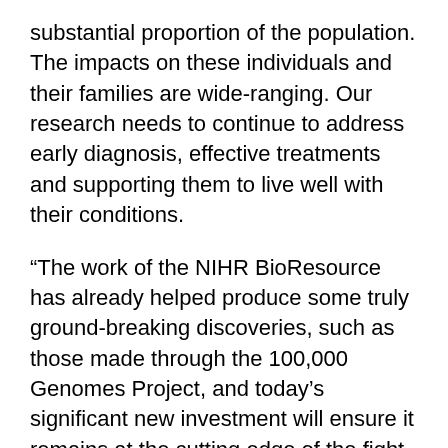substantial proportion of the population. The impacts on these individuals and their families are wide-ranging. Our research needs to continue to address early diagnosis, effective treatments and supporting them to live well with their conditions.
“The work of the NIHR BioResource has already helped produce some truly ground-breaking discoveries, such as those made through the 100,000 Genomes Project, and today’s significant new investment will ensure it remains at the cutting edge of the fight to understand rare diseases, and help the people who have them.”
Chief Investigator at the NIHR BioResource, Professor John Bradley, said: “The NIHR BioResource is delighted to be part of the Rare Diseases Action…